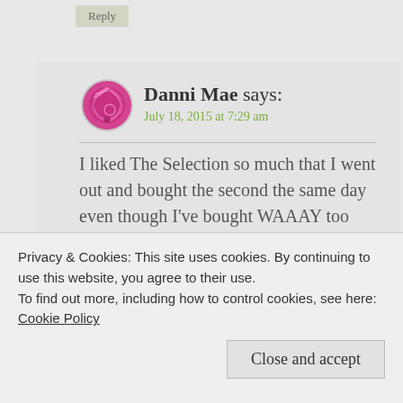Reply
[Figure (illustration): Pink/magenta spiral yarn ball avatar icon for user Danni Mae]
Danni Mae says:
July 18, 2015 at 7:29 am
I liked The Selection so much that I went out and bought the second the same day even though I've bought WAAAY too many books lately. If you want to read The Girl with All the Gifts, I might be able to do a book swap (depending on where you live). I
Privacy & Cookies: This site uses cookies. By continuing to use this website, you agree to their use.
To find out more, including how to control cookies, see here: Cookie Policy
Close and accept